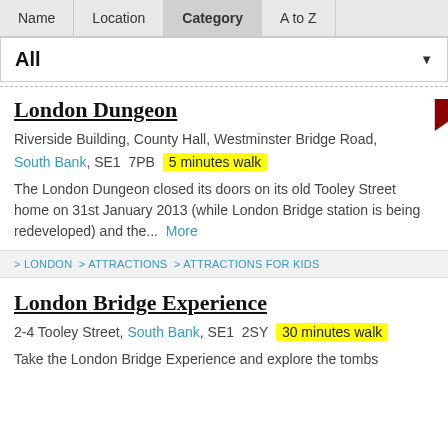Name | Location | Category | A to Z
All
London Dungeon
Riverside Building, County Hall, Westminster Bridge Road, South Bank, SE1 7PB  5 minutes walk
The London Dungeon closed its doors on its old Tooley Street home on 31st January 2013 (while London Bridge station is being redeveloped) and the...  More
> LONDON > ATTRACTIONS > ATTRACTIONS FOR KIDS
London Bridge Experience
2-4 Tooley Street, South Bank, SE1 2SY  30 minutes walk
Take the London Bridge Experience and explore the tombs